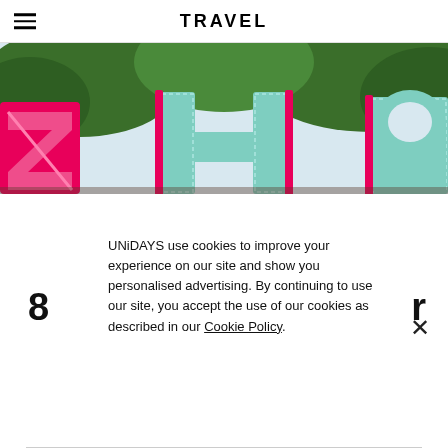TRAVEL
[Figure (photo): Colorful festival signage with large pink and mint-green decorative letters against a backdrop of green trees and sky]
UNiDAYS use cookies to improve your experience on our site and show you personalised advertising. By continuing to use our site, you accept the use of our cookies as described in our Cookie Policy.